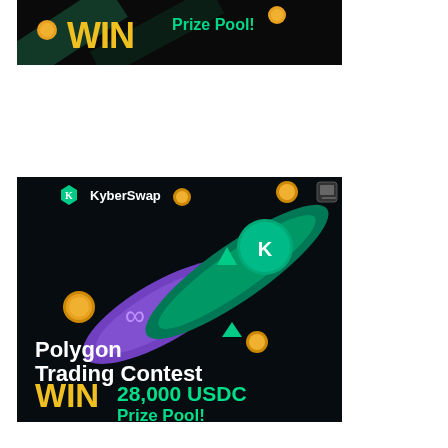[Figure (illustration): KyberSwap advertisement banner (partial, top): dark background with yellow/green text showing 'WIN Prize Pool!' text visible at top.]
[Figure (illustration): KyberSwap advertisement banner for Polygon Trading Contest. Dark background with a teal/green meteor and a purple meteor with infinity symbol, floating gold coins, KyberSwap logo top-left. Text reads: 'Polygon Trading Contest WIN 28,000 USDC Prize Pool!' White and yellow/green colored text. Small icon in top-right corner.]